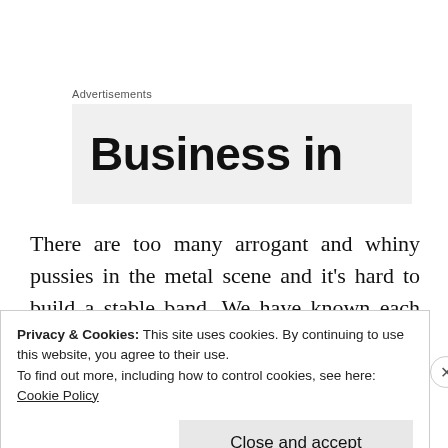Advertisements
[Figure (other): Advertisement banner with large bold text 'Business in' on a light gray background]
There are too many arrogant and whiny pussies in the metal scene and it's hard to build a stable band. We have known each other for years and we play, travel and (for the most part) drink well together and although we have egos, have been able to
Privacy & Cookies: This site uses cookies. By continuing to use this website, you agree to their use.
To find out more, including how to control cookies, see here:
Cookie Policy

Close and accept